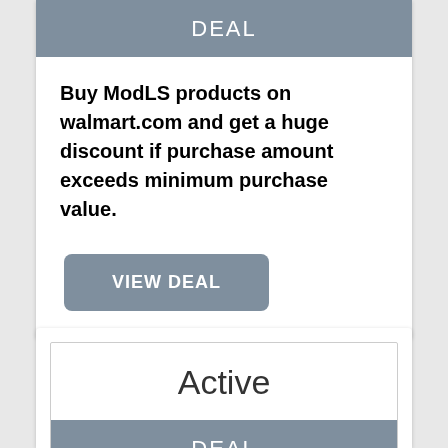DEAL
Buy ModLS products on walmart.com and get a huge discount if purchase amount exceeds minimum purchase value.
VIEW DEAL
Active
DEAL